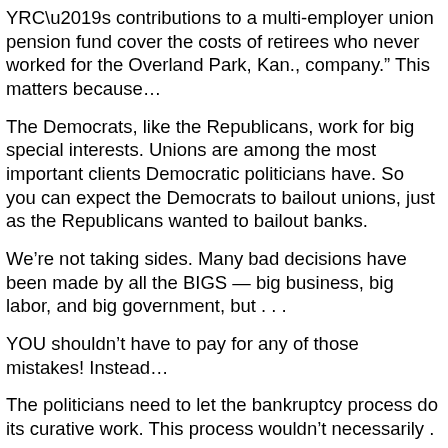YRC’s contributions to a multi-employer union pension fund cover the costs of retirees who never worked for the Overland Park, Kan., company.” This matters because…
The Democrats, like the Republicans, work for big special interests. Unions are among the most important clients Democratic politicians have. So you can expect the Democrats to bailout unions, just as the Republicans wanted to bailout banks.
We’re not taking sides. Many bad decisions have been made by all the BIGS — big business, big labor, and big government, but . . .
YOU shouldn’t have to pay for any of those mistakes! Instead…
The politicians need to let the bankruptcy process do its curative work. This process wouldn’t necessarily . . .